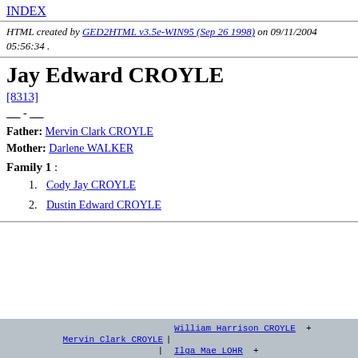INDEX
HTML created by GED2HTML v3.5e-WIN95 (Sep 26 1998) on 09/11/2004 05:56:34 .
Jay Edward CROYLE
[8313]
____ - ____
Father: Mervin Clark CROYLE
Mother: Darlene WALKER
Family 1 :
1. Cody Jay CROYLE
2. Dustin Edward CROYLE
| Left | Sep | Right |
| --- | --- | --- |
| Mervin Clark CROYLE | | | William Harrison CROYLE + |
|  | | | Ilga Mae LOHR + |